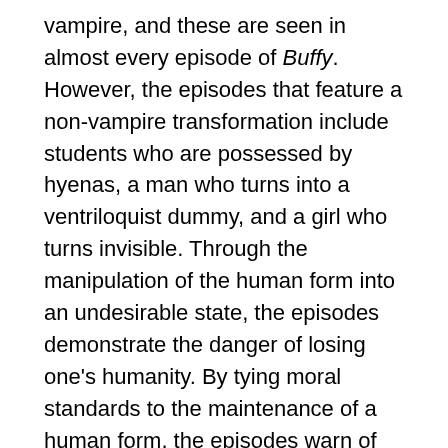vampire, and these are seen in almost every episode of Buffy. However, the episodes that feature a non-vampire transformation include students who are possessed by hyenas, a man who turns into a ventriloquist dummy, and a girl who turns invisible. Through the manipulation of the human form into an undesirable state, the episodes demonstrate the danger of losing one's humanity. By tying moral standards to the maintenance of a human form, the episodes warn of divergence from acceptable behavior. In addition, the episodes suggest that one's humanity is always at risk of becoming warped and defiled because every transformation is caused by an uncontrollable outside force. In turn, the monster transformations in the first season of Buffy serve to elevate the status of humanity and to justify Buffy's mission to rid the Earth of the monsters' reign and influence.